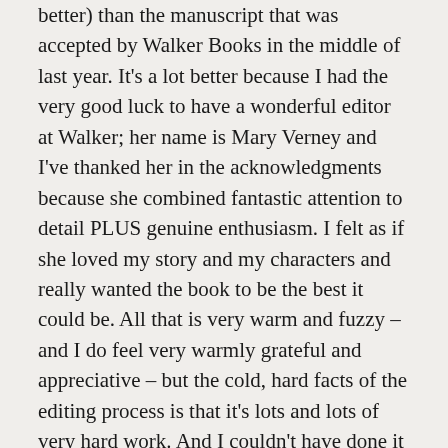better) than the manuscript that was accepted by Walker Books in the middle of last year. It's a lot better because I had the very good luck to have a wonderful editor at Walker; her name is Mary Verney and I've thanked her in the acknowledgments because she combined fantastic attention to detail PLUS genuine enthusiasm. I felt as if she loved my story and my characters and really wanted the book to be the best it could be. All that is very warm and fuzzy – and I do feel very warmly grateful and appreciative – but the cold, hard facts of the editing process is that it's lots and lots of very hard work. And I couldn't have done it by myself. It took someone else to see that I had too many characters; that the story didn't need one particular chapter; that the readers needed to know what my little heroine was thinking and feeling at certain points; that I needed to cull my exclamation points, look for alternatives for the word 'look' (both